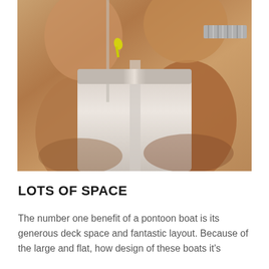[Figure (photo): Photo of people sitting on a pontoon boat, wearing bikinis, showing legs and torso on beige/cream upholstered seating. Yellow bikini tie visible on left figure, gray patterned swimsuit on right figure.]
LOTS OF SPACE
The number one benefit of a pontoon boat is its generous deck space and fantastic layout. Because of the large and flat, how design of these boats it's